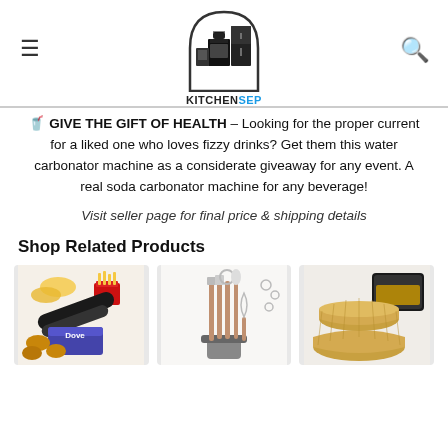[Figure (logo): KitchenSep logo: kitchen appliances icon inside an arch, text KITCHEN in black and SEP in blue]
🥤 GIVE THE GIFT OF HEALTH – Looking for the proper current for a liked one who loves fizzy drinks? Get them this water carbonator machine as a considerate giveaway for any event. A real soda carbonator machine for any beverage!
Visit seller page for final price & shipping details
Shop Related Products
[Figure (photo): Photo of a chip bag opener/sealer tool with potato chips and fries]
[Figure (photo): Photo of kitchen utensil set with spatulas, whisks, spoons in a holder]
[Figure (photo): Photo of round silicone/parchment air fryer liners in gold/tan color]